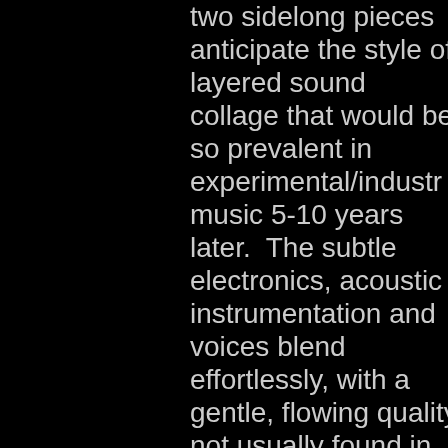two sidelong pieces anticipate the style of layered sound collage that would be so prevalent in experimental/industr music 5-10 years later.  The subtle electronics, acoustic instrumentation and voices blend effortlessly, with a gentle, flowing quality not usually found in similar works by contemporaries like Bayle or Parmegiani. Miereanu's pdf bio can be found here. [A - Parte Prima